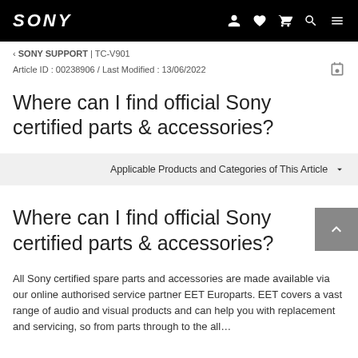SONY | navigation icons
‹ SONY SUPPORT | TC-V901
Article ID : 00238906 / Last Modified : 13/06/2022
Where can I find official Sony certified parts & accessories?
Applicable Products and Categories of This Article
Where can I find official Sony certified parts & accessories?
All Sony certified spare parts and accessories are made available via our online authorised service partner EET Europarts. EET covers a vast range of audio and visual products and can help you with replacement and servicing, so from parts through to...